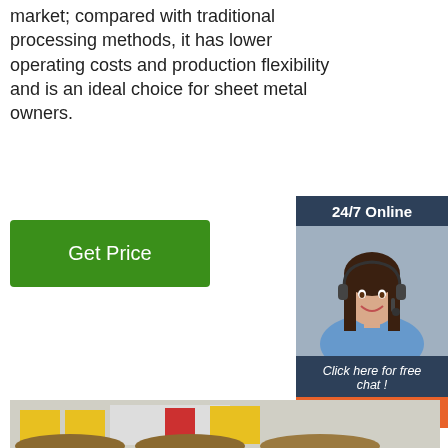market; compared with traditional processing methods, it has lower operating costs and production flexibility and is an ideal choice for sheet metal owners.
Get Price
[Figure (photo): Customer service representative wearing a headset, smiling, with '24/7 Online' header and 'Click here for free chat!' and 'QUOTATION' button overlay on dark blue sidebar]
[Figure (photo): Industrial sheet metal processing machinery in a factory setting, yellow and white machine with large metal pipes/rollers in the foreground]